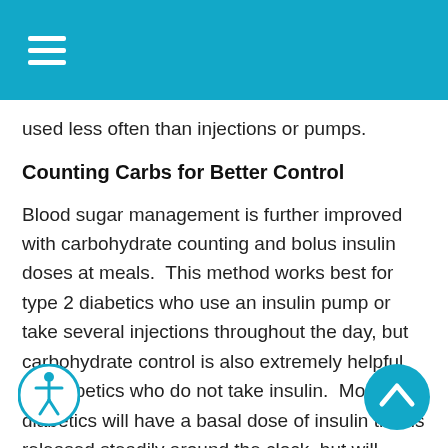☰
used less often than injections or pumps.
Counting Carbs for Better Control
Blood sugar management is further improved with carbohydrate counting and bolus insulin doses at meals.  This method works best for type 2 diabetics who use an insulin pump or take several injections throughout the day, but carbohydrate control is also extremely helpful for diabetics who do not take insulin.  Most diabetics will have a basal dose of insulin that is released steadily around the clock, but will require bolus doses with meals. Carbohydrate counting gives diabetics more